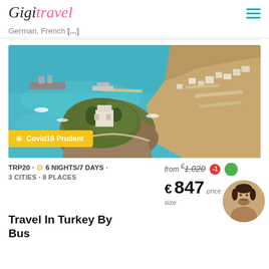GigiTravel
German, French [...]
[Figure (photo): Aerial photo of a coastal island with a castle/fortress surrounded by turquoise sea, with a harbor and city visible in the background. Yellow badge overlay reads: Covid19 Prudent]
TRP20 · 6 NIGHTS/7 DAYS · 3 CITIES · 8 PLACES
from €1.020  €847  price va... size
Travel In Turkey By Bus